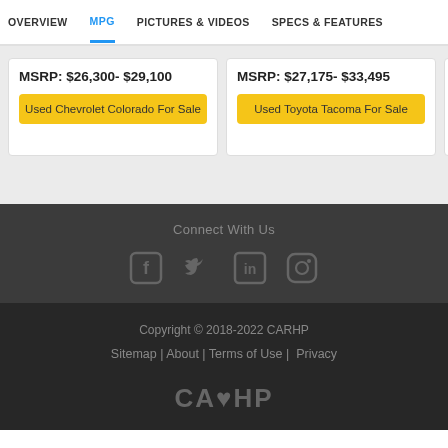OVERVIEW | MPG | PICTURES & VIDEOS | SPECS & FEATURES
MSRP: $26,300- $29,100
Used Chevrolet Colorado For Sale
MSRP: $27,175- $33,495
Used Toyota Tacoma For Sale
Connect With Us
[Figure (other): Social media icons: Facebook, Twitter, LinkedIn, Instagram]
Copyright © 2018-2022 CARHP
Sitemap | About | Terms of Use | Privacy
[Figure (logo): CARHP logo text in gray]